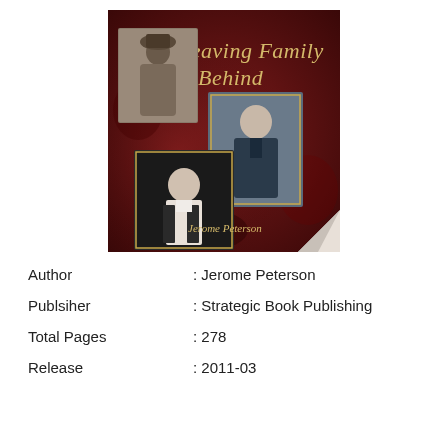[Figure (photo): Book cover of 'Leaving Family Behind' by Jerome Peterson. Dark red background with two vintage portrait photographs overlapping. Title text in gold/cream decorative font reads 'Leaving Family Behind'. Author name 'Jerome Peterson' at bottom. Corner of cover is peeled back showing white underside.]
Author : Jerome Peterson
Publsiher : Strategic Book Publishing
Total Pages : 278
Release : 2011-03